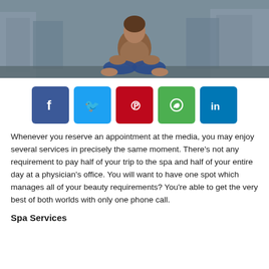[Figure (photo): Person sitting in lotus/meditation pose on a rooftop or elevated surface with city buildings in the background]
[Figure (infographic): Row of five social media sharing buttons: Facebook (blue), Twitter (cyan), Pinterest (red), WhatsApp (green), LinkedIn (blue)]
Whenever you reserve an appointment at the media, you may enjoy several services in precisely the same moment. There’s not any requirement to pay half of your trip to the spa and half of your entire day at a physician’s office. You will want to have one spot which manages all of your beauty requirements? You’re able to get the very best of both worlds with only one phone call.
Spa Services